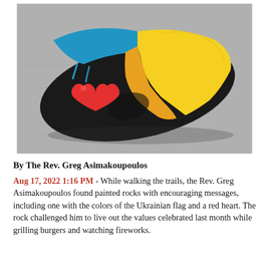[Figure (photo): A painted rock with the colors of the Ukrainian flag (blue and yellow) and a red heart painted on its dark surface, resting on a gray background.]
By The Rev. Greg Asimakoupoulos
Aug 17, 2022 1:16 PM - While walking the trails, the Rev. Greg Asimakoupoulos found painted rocks with encouraging messages, including one with the colors of the Ukrainian flag and a red heart. The rock challenged him to live out the values celebrated last month while grilling burgers and watching fireworks.